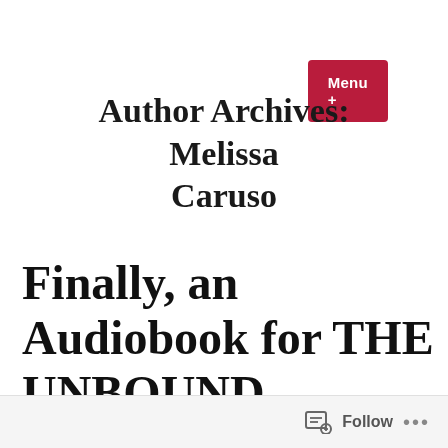Menu +
Author Archives: Melissa Caruso
Finally, an Audiobook for THE UNBOUND EMPIRE!
Follow ...